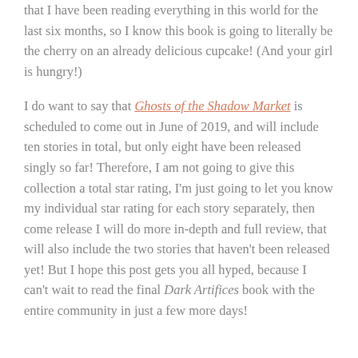that I have been reading everything in this world for the last six months, so I know this book is going to literally be the cherry on an already delicious cupcake! (And your girl is hungry!)
I do want to say that Ghosts of the Shadow Market is scheduled to come out in June of 2019, and will include ten stories in total, but only eight have been released singly so far! Therefore, I am not going to give this collection a total star rating, I'm just going to let you know my individual star rating for each story separately, then come release I will do more in-depth and full review, that will also include the two stories that haven't been released yet! But I hope this post gets you all hyped, because I can't wait to read the final Dark Artifices book with the entire community in just a few more days!